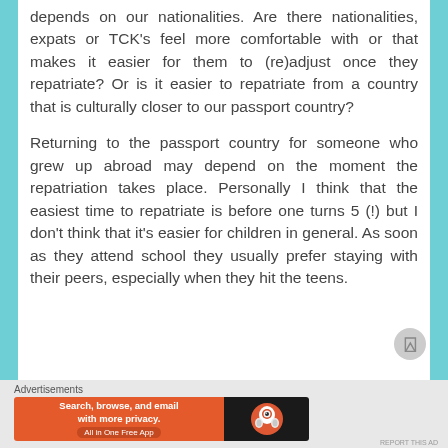depends on our nationalities. Are there nationalities, expats or TCK's feel more comfortable with or that makes it easier for them to (re)adjust once they repatriate? Or is it easier to repatriate from a country that is culturally closer to our passport country?
Returning to the passport country for someone who grew up abroad may depend on the moment the repatriation takes place. Personally I think that the easiest time to repatriate is before one turns 5 (!) but I don't think that it's easier for children in general. As soon as they attend school they usually prefer staying with their peers, especially when they hit the teens.
Advertisements
[Figure (infographic): DuckDuckGo advertisement banner: 'Search, browse, and email with more privacy. All in One Free App' with DuckDuckGo logo on dark background.]